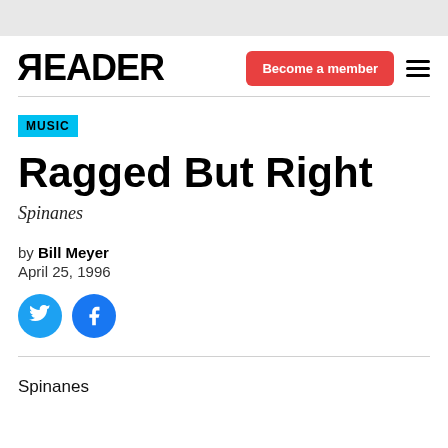READER — Become a member
MUSIC
Ragged But Right
Spinanes
by Bill Meyer
April 25, 1996
[Figure (illustration): Twitter and Facebook social share icon buttons (cyan and blue circles)]
Spinanes